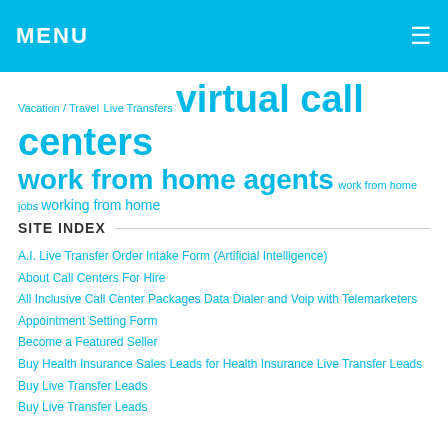MENU
Vacation / Travel Live Transfers virtual call centers work from home agents work from home jobs working from home
SITE INDEX
A.I. Live Transfer Order Intake Form (Artificial Intelligence)
About Call Centers For Hire
All Inclusive Call Center Packages Data Dialer and Voip with Telemarketers
Appointment Setting Form
Become a Featured Seller
Buy Health Insurance Sales Leads for Health Insurance Live Transfer Leads
Buy Live Transfer Leads
Buy Live Transfer Leads